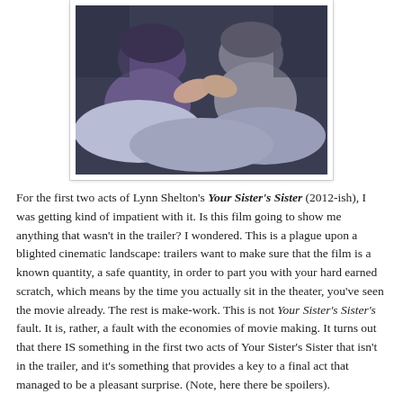[Figure (photo): Two people in a darkened room appearing to have a pillow fight or tussle, one wearing a purple top, the other in a grey shirt, both reaching toward each other over bedding/pillows]
For the first two acts of Lynn Shelton's Your Sister's Sister (2012-ish), I was getting kind of impatient with it. Is this film going to show me anything that wasn't in the trailer? I wondered. This is a plague upon a blighted cinematic landscape: trailers want to make sure that the film is a known quantity, a safe quantity, in order to part you with your hard earned scratch, which means by the time you actually sit in the theater, you've seen the movie already. The rest is make-work. This is not Your Sister's Sister's fault. It is, rather, a fault with the economies of movie making. It turns out that there IS something in the first two acts of Your Sister's Sister that isn't in the trailer, and it's something that provides a key to a final act that managed to be a pleasant surprise. (Note, here there be spoilers).